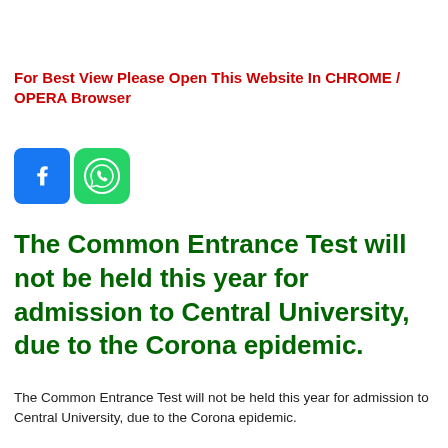For Best View Please Open This Website In CHROME / OPERA Browser
[Figure (logo): Facebook and WhatsApp social media share icons]
The Common Entrance Test will not be held this year for admission to Central University, due to the Corona epidemic.
The Common Entrance Test will not be held this year for admission to Central University, due to the Corona epidemic.